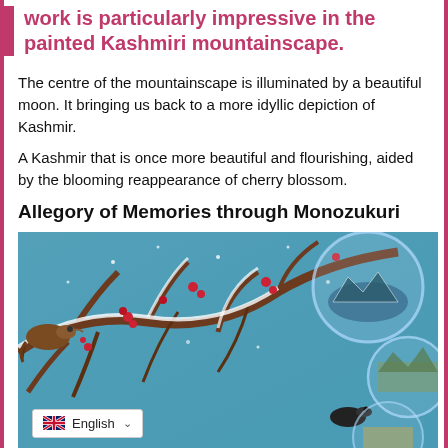work is particularly impressive in the painted Kashmiri mountainscape.
The centre of the mountainscape is illuminated by a beautiful moon. It bringing us back to a more idyllic depiction of Kashmir.
A Kashmir that is once more beautiful and flourishing, aided by the blooming reappearance of cherry blossom.
Allegory of Memories through Monozukuri
[Figure (illustration): Detailed painting of snow-covered branches with red berries, birds, and circular bubble-like orbs containing Kashmiri landscape scenes, set against a blue background.]